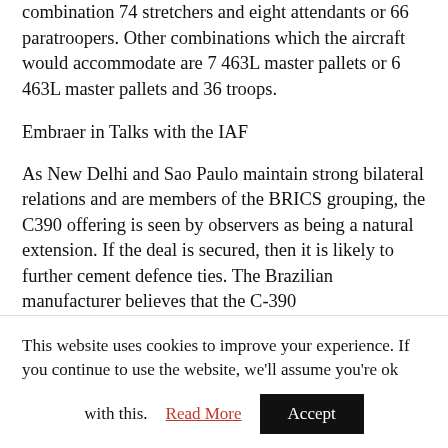The Millennium can carry 80 troops, or a combination 74 stretchers and eight attendants or 66 paratroopers. Other combinations which the aircraft would accommodate are 7 463L master pallets or 6 463L master pallets and 36 troops.
Embraer in Talks with the IAF
As New Delhi and Sao Paulo maintain strong bilateral relations and are members of the BRICS grouping, the C390 offering is seen by observers as being a natural extension. If the deal is secured, then it is likely to further cement defence ties. The Brazilian manufacturer believes that the C-390
This website uses cookies to improve your experience. If you continue to use the website, we'll assume you're ok with this.